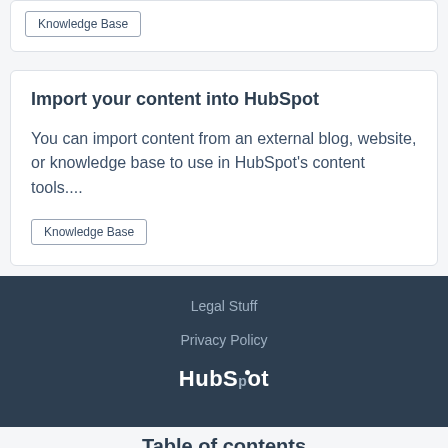Knowledge Base
Import your content into HubSpot
You can import content from an external blog, website, or knowledge base to use in HubSpot's content tools....
Knowledge Base
Legal Stuff
Privacy Policy
HubSpot
Table of contents